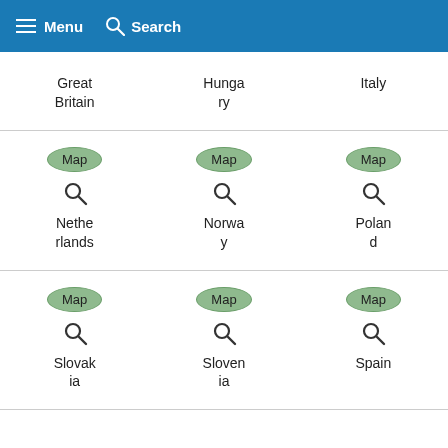Menu  Search
| Great Britain | Hungary | Italy |
| --- | --- | --- |
| Netherlands | Norway | Poland |
| --- | --- | --- |
| Slovakia | Slovenia | Spain |
| --- | --- | --- |